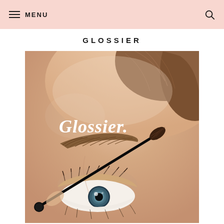MENU [hamburger icon] [search icon]
GLOSSIER
[Figure (photo): Close-up photo of a person's eye and brow area. A brow wand/mascara brush is being applied to the eyebrow. The word 'Glossier.' appears in large white italic text overlaid on the upper portion of the image.]